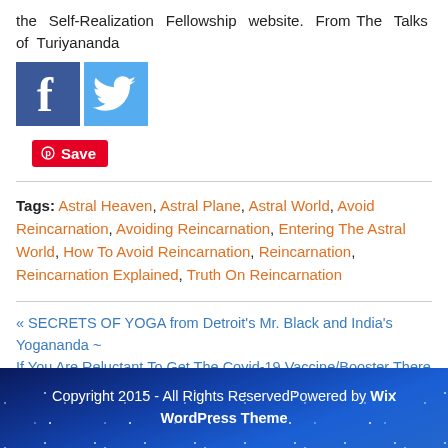the Self-Realization Fellowship website. From The Talks of Turiyananda
[Figure (illustration): Social sharing buttons: Facebook (blue square with white 'f') and Twitter (light blue square with white bird icon), plus a red Pinterest Save button]
Tags: Astral Heaven, Astral Plane, Astral World, Avoid Reincarnation, Avoiding Reincarnation, Entering The Astral World, How To Avoid Reincarnation, Reincarnation, Reincarnation Explained, Truth On Reincarnation
« SECRETS OF YOGA from Detroit's Mr. Black and India's Yogananda ~
If You Are Reluctant To Get The Covid-19 Vaccine/Booster There Is A New Cure…..NOW…. UPDATED….. Important »
Copyright 2015 - All Rights ReservedPowered by Wix WordPress Theme